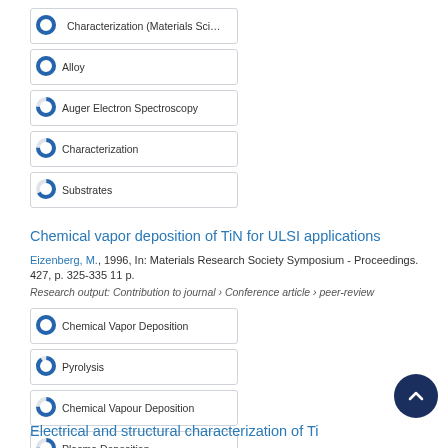100% Characterization (Materials Sci…
100% Alloy
75% Auger Electron Spectroscopy
75% Characterization
67% Substrates
Chemical vapor deposition of TiN for ULSI applications
Eizenberg, M., 1996, In: Materials Research Society Symposium - Proceedings. 427, p. 325-335 11 p.
Research output: Contribution to journal › Conference article › peer-review
100% Chemical Vapor Deposition
90% Pyrolysis
75% Chemical Vapour Deposition
75% Plasma Deposition
67% Vapor Deposition
Electrical and structural characterization of Ti